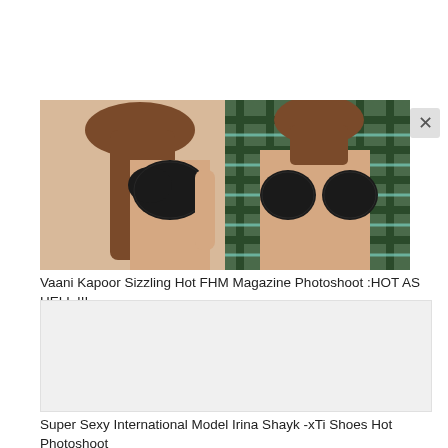[Figure (photo): Two women posing in black lace bras; left figure shown from side, right figure wearing an open plaid shirt over lingerie, magazine photoshoot style image]
Vaani Kapoor Sizzling Hot FHM Magazine Photoshoot :HOT AS HELL !!!
[Figure (photo): Second photo placeholder (light gray rectangle) — Super Sexy International Model Irina Shayk xTi Shoes Hot Photoshoot]
Super Sexy International Model Irina Shayk -xTi Shoes Hot Photoshoot